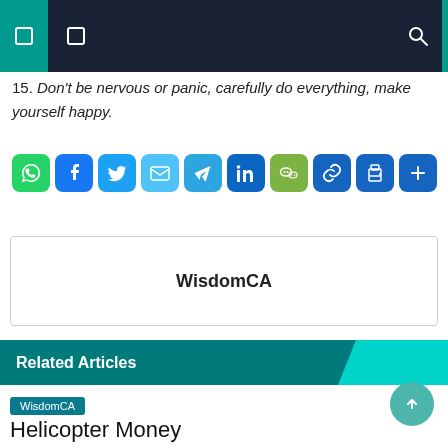WisdomCA navigation header
15. Don't be nervous or panic, carefully do everything, make yourself happy.
[Figure (infographic): Row of social sharing buttons: WhatsApp, Facebook, Twitter, Email, Telegram, LinkedIn, WeChat, Link, Print, More]
WisdomCA
Related Articles
WisdomCA
Helicopter Money